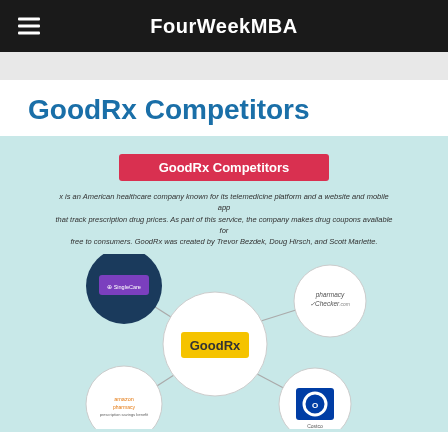FourWeekMBA
GoodRx Competitors
[Figure (infographic): GoodRx Competitors network diagram showing GoodRx at center connected to SingleCare, PharmacyChecker.com, Amazon Pharmacy, and Costco. Includes description: x is an American healthcare company known for its telemedicine platform and a website and mobile app that track prescription drug prices. As part of this service, the company makes drug coupons available for free to consumers. GoodRx was created by Trevor Bezdek, Doug Hirsch, and Scott Marlette.]